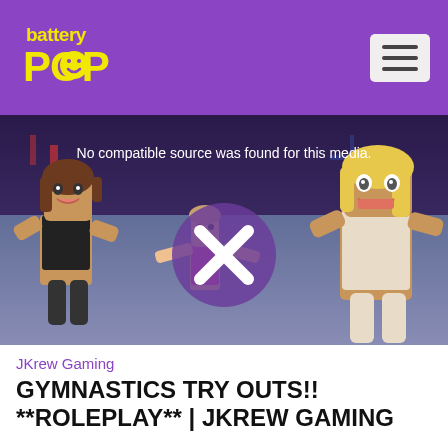Battery Pop logo and navigation menu
[Figure (screenshot): Video player showing Roblox gymnastics gameplay with three cartoon characters. Text overlay reads 'No compatible source was found for this media.' with an X error icon in a purple circle in the center.]
JKrew Gaming
GYMNASTICS TRY OUTS!! **ROLEPLAY** | JKREW GAMING